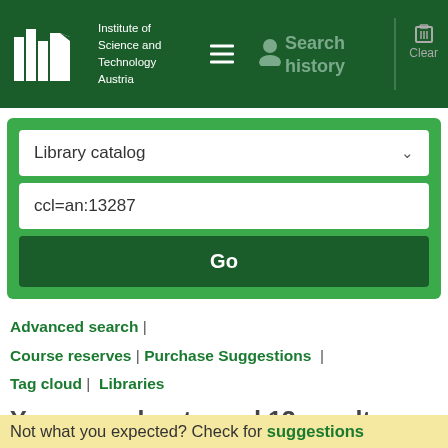[Figure (logo): ISTA logo with white book/bar icons spelling ISTA and text 'Institute of Science and Technology Austria' on dark green background header]
Search history | Clear
[Figure (screenshot): Search form with Library catalog dropdown, ccl=an:13287 input field, and Go button on green background]
Advanced search | Course reserves | Purchase Suggestions | Tag cloud | Libraries
Your search returned 13 results.
[Figure (other): RSS feed orange icon]
Not what you expected? Check for suggestions